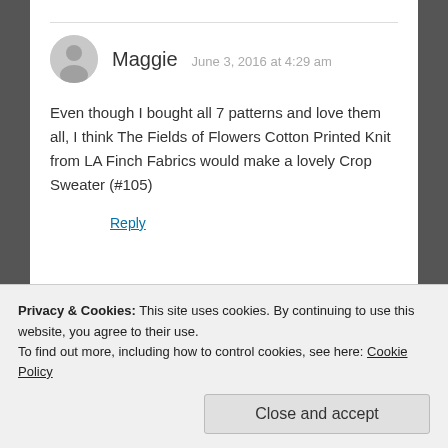Maggie  June 3, 2016 at 4:29 am
Even though I bought all 7 patterns and love them all, I think The Fields of Flowers Cotton Printed Knit from LA Finch Fabrics would make a lovely Crop Sweater (#105)
Reply
juditupp  June 3, 2016 at 11:34 am
Privacy & Cookies: This site uses cookies. By continuing to use this website, you agree to their use.
To find out more, including how to control cookies, see here: Cookie Policy
Close and accept